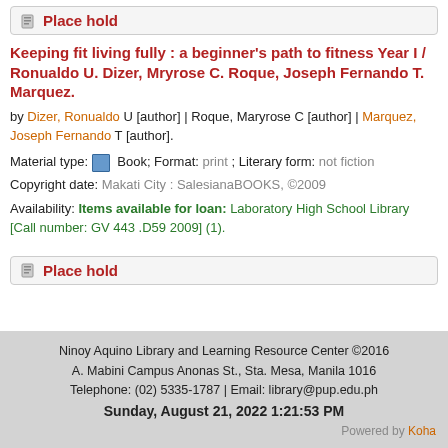Place hold
Keeping fit living fully : a beginner's path to fitness Year I / Ronualdo U. Dizer, Mryrose C. Roque, Joseph Fernando T. Marquez.
by Dizer, Ronualdo U [author] | Roque, Maryrose C [author] | Marquez, Joseph Fernando T [author].
Material type: Book; Format: print ; Literary form: not fiction
Copyright date: Makati City : SalesianaBOOKS, ©2009
Availability: Items available for loan: Laboratory High School Library [Call number: GV 443 .D59 2009] (1).
Place hold
Ninoy Aquino Library and Learning Resource Center ©2016
A. Mabini Campus Anonas St., Sta. Mesa, Manila 1016
Telephone: (02) 5335-1787 | Email: library@pup.edu.ph
Sunday, August 21, 2022 1:21:53 PM
Powered by Koha